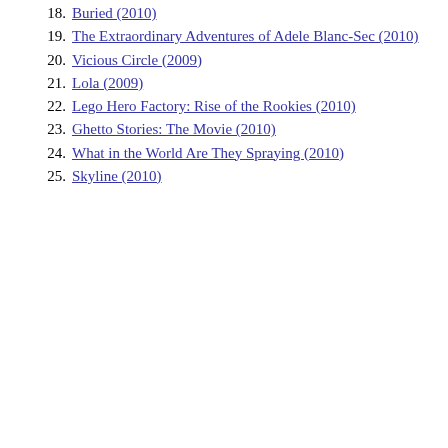18. Buried (2010)
19. The Extraordinary Adventures of Adele Blanc-Sec (2010)
20. Vicious Circle (2009)
21. Lola (2009)
22. Lego Hero Factory: Rise of the Rookies (2010)
23. Ghetto Stories: The Movie (2010)
24. What in the World Are They Spraying (2010)
25. Skyline (2010)